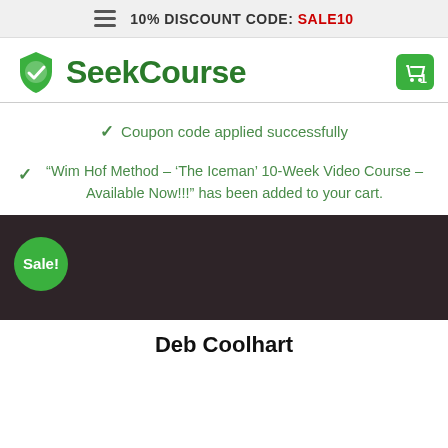10% DISCOUNT CODE: SALE10
[Figure (logo): SeekCourse logo with green shield icon and text 'SeekCourse']
Coupon code applied successfully
“Wim Hof Method – ‘The Iceman’ 10-Week Video Course – Available Now!!!” has been added to your cart.
[Figure (photo): Dark brown/charcoal product image area with a green 'Sale!' badge overlay]
Deb Coolhart